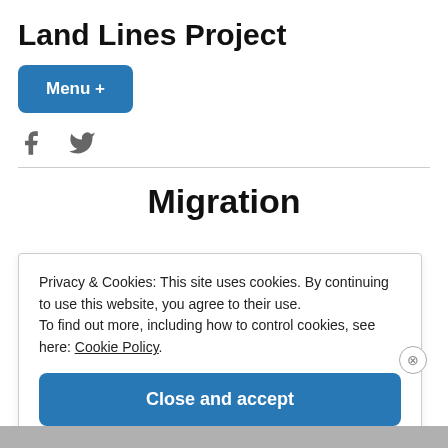Land Lines Project
Menu +
[Figure (illustration): Facebook and Twitter social media icons in gray]
Migration
Privacy & Cookies: This site uses cookies. By continuing to use this website, you agree to their use.
To find out more, including how to control cookies, see here: Cookie Policy
Close and accept